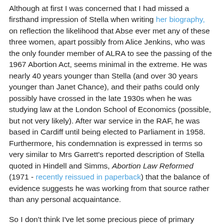Although at first I was concerned that I had missed a firsthand impression of Stella when writing her biography, on reflection the likelihood that Abse ever met any of these three women, apart possibly from Alice Jenkins, who was the only founder member of ALRA to see the passing of the 1967 Abortion Act, seems minimal in the extreme. He was nearly 40 years younger than Stella (and over 30 years younger than Janet Chance), and their paths could only possibly have crossed in the late 1930s when he was studying law at the London School of Economics (possible, but not very likely). After war service in the RAF, he was based in Cardiff until being elected to Parliament in 1958. Furthermore, his condemnation is expressed in terms so very similar to Mrs Garrett's reported description of Stella quoted in Hindell and Simms, Abortion Law Reformed (1971 - recently reissued in paperback) that the balance of evidence suggests he was working from that source rather than any personal acquaintance.
So I don't think I've let some precious piece of primary evidence escape me, though I suppose this posthumous and hearsay bit of blackguarding might have fitted into my 'Coda'